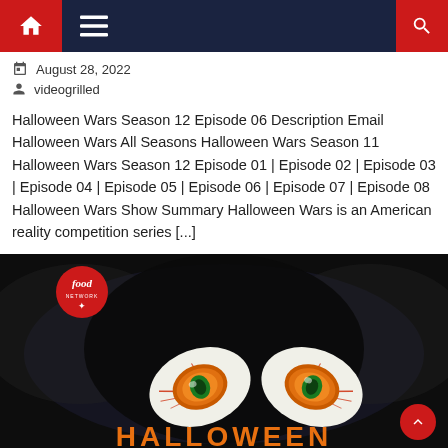Navigation bar with home, menu, and search icons
August 28, 2022
videogrilled
Halloween Wars Season 12 Episode 06 Description Email Halloween Wars All Seasons Halloween Wars Season 11 Halloween Wars Season 12 Episode 01 | Episode 02 | Episode 03 | Episode 04 | Episode 05 | Episode 06 | Episode 07 | Episode 08 Halloween Wars Show Summary Halloween Wars is an American reality competition series [...]
[Figure (photo): Halloween Wars Food Network promotional image showing two glowing green eyes made from decorated cakes/food art against a dark background, with the Food Network logo in the top left and 'HALLOWEEN' text at the bottom in orange letters]